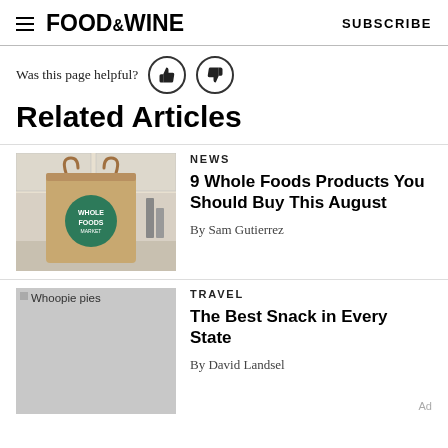FOOD&WINE  SUBSCRIBE
Was this page helpful?
Related Articles
[Figure (photo): A Whole Foods Market paper bag sitting on a kitchen counter]
NEWS
9 Whole Foods Products You Should Buy This August
By Sam Gutierrez
[Figure (photo): Whoopie pies placeholder image]
TRAVEL
The Best Snack in Every State
By David Landsel